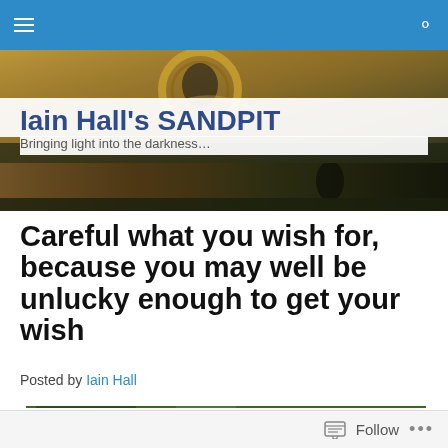Iain Hall's SANDPIT — navigation bar
[Figure (photo): Decorative header photo with golden circular frame element, ornate background, dark tones]
Iain Hall's SANDPIT
Bringing light into the darkness…
Careful what you wish for, because you may well be unlucky enough to get your wish
Posted by Iain Hall
[Figure (photo): Partial view of outdoor/nature photo at bottom of article area]